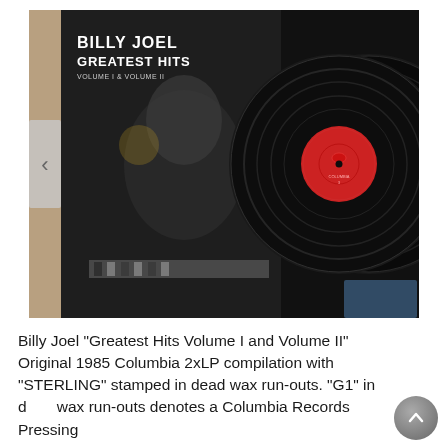[Figure (photo): Billy Joel Greatest Hits Volume I and Volume II vinyl record album. Shows the album cover on the left with Billy Joel leaning on a piano in black and white, and two black vinyl records on the right with a red Columbia Records label visible.]
Billy Joel "Greatest Hits Volume I and Volume II" Original 1985 Columbia 2xLP compilation with "STERLING" stamped in dead wax run-outs. "G1" in dead wax run-outs denotes a Columbia Records Pressing